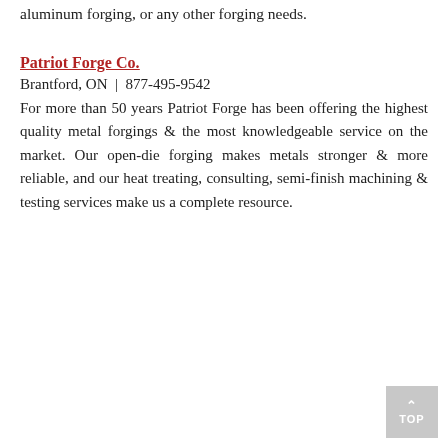aluminum forging, or any other forging needs.
Patriot Forge Co.
Brantford, ON  |  877-495-9542
For more than 50 years Patriot Forge has been offering the highest quality metal forgings & the most knowledgeable service on the market. Our open-die forging makes metals stronger & more reliable, and our heat treating, consulting, semi-finish machining & testing services make us a complete resource.